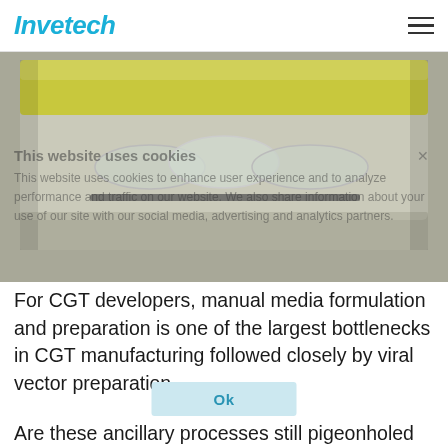Invetech
[Figure (photo): Close-up photo of a clear plastic medical/biotech fluid bag or packaging with yellow liquid visible at top and molded plastic features, on a gray surface]
This website uses cookies
This website uses cookies to enhance user experience and to analyze performance and traffic on our website. We also share information about your use of our site with our social media, advertising and analytics partners.
For CGT developers, manual media formulation and preparation is one of the largest bottlenecks in CGT manufacturing followed closely by viral vector preparation.
Are these ancillary processes still pigeonholed